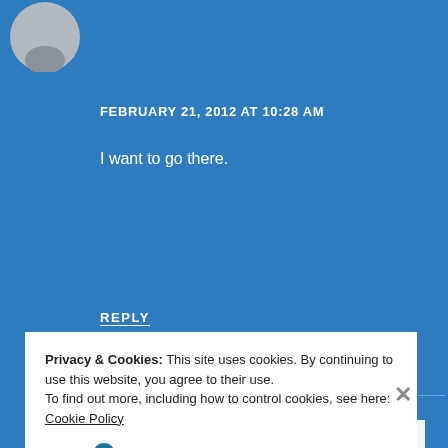[Figure (illustration): Gray circular avatar/profile picture placeholder with generic person silhouette icon]
FEBRUARY 21, 2012 AT 10:28 AM
I want to go there.
REPLY
[Figure (screenshot): WordPress VIP advertisement banner with logo and 'Learn more →' button on colorful background]
REPORT THIS AD
Privacy & Cookies: This site uses cookies. By continuing to use this website, you agree to their use.
To find out more, including how to control cookies, see here: Cookie Policy
Close and accept